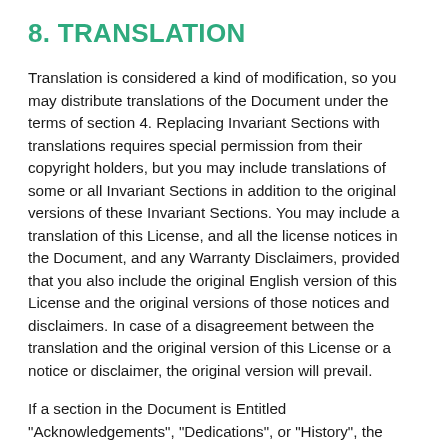8. TRANSLATION
Translation is considered a kind of modification, so you may distribute translations of the Document under the terms of section 4. Replacing Invariant Sections with translations requires special permission from their copyright holders, but you may include translations of some or all Invariant Sections in addition to the original versions of these Invariant Sections. You may include a translation of this License, and all the license notices in the Document, and any Warranty Disclaimers, provided that you also include the original English version of this License and the original versions of those notices and disclaimers. In case of a disagreement between the translation and the original version of this License or a notice or disclaimer, the original version will prevail.
If a section in the Document is Entitled "Acknowledgements", "Dedications", or "History", the requirement (section 4) to Preserve its Title (section 1)